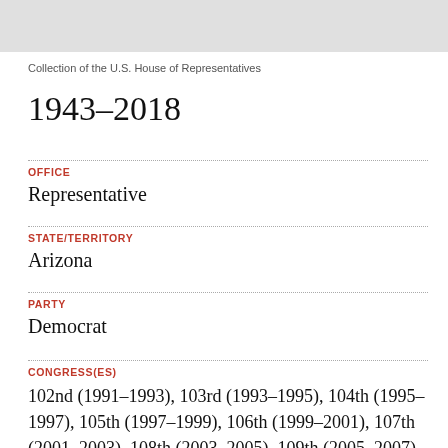[Figure (other): Gray banner/header bar at top of page]
Collection of the U.S. House of Representatives
1943–2018
OFFICE
Representative
STATE/TERRITORY
Arizona
PARTY
Democrat
CONGRESS(ES)
102nd (1991–1993), 103rd (1993–1995), 104th (1995–1997), 105th (1997–1999), 106th (1999–2001), 107th (2001–2003), 108th (2003–2005), 109th (2005–2007), 110th (2007–